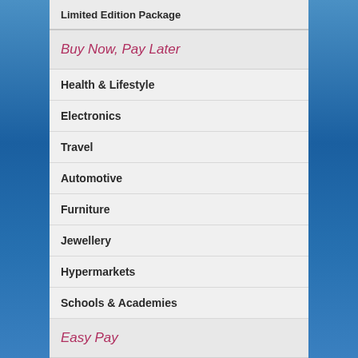Limited Edition Package
Buy Now, Pay Later
Health & Lifestyle
Electronics
Travel
Automotive
Furniture
Jewellery
Hypermarkets
Schools & Academies
Easy Pay
Offers
Rewards